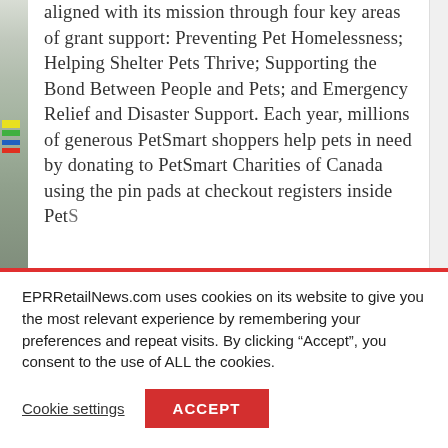aligned with its mission through four key areas of grant support: Preventing Pet Homelessness; Helping Shelter Pets Thrive; Supporting the Bond Between People and Pets; and Emergency Relief and Disaster Support. Each year, millions of generous PetSmart shoppers help pets in need by donating to PetSmart Charities of Canada using the pin pads at checkout registers inside PetSmart stores. In...
EPRRetailNews.com uses cookies on its website to give you the most relevant experience by remembering your preferences and repeat visits. By clicking “Accept”, you consent to the use of ALL the cookies.
Cookie settings
ACCEPT